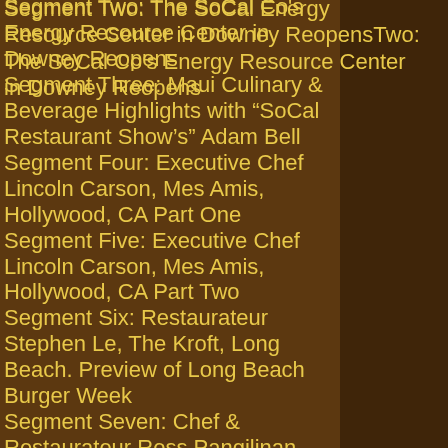Segment Two: The SoCal Energy Resource Center in Downey Reopens
Segment Three: Maui Culinary & Beverage Highlights with “SoCal Restaurant Show’s” Adam Bell
Segment Four: Executive Chef Lincoln Carson, Mes Amis, Hollywood, CA Part One
Segment Five: Executive Chef Lincoln Carson, Mes Amis, Hollywood, CA Part Two
Segment Six: Restaurateur Stephen Le, The Kroft, Long Beach. Preview of Long Beach Burger Week
Segment Seven: Chef & Restaurateur Ross Pangilinan, ReMix Kitchen Bar, Long Beach. Preview of Long Beach Burger Week
Segment Eight: “Ask the Chef” with Co-Host Chef Andrew Gruel of Calico Fish House